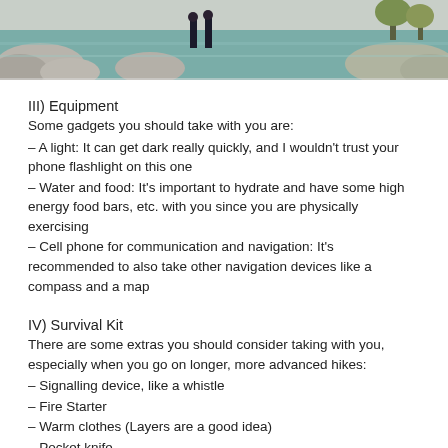[Figure (photo): Outdoor nature photo showing two people standing on rocks near a river or lake with greenish water, surrounded by trees and rocks.]
III) Equipment
Some gadgets you should take with you are:
– A light: It can get dark really quickly, and I wouldn't trust your phone flashlight on this one
– Water and food: It's important to hydrate and have some high energy food bars, etc. with you since you are physically exercising
– Cell phone for communication and navigation: It's recommended to also take other navigation devices like a compass and a map
IV) Survival Kit
There are some extras you should consider taking with you, especially when you go on longer, more advanced hikes:
– Signalling device, like a whistle
– Fire Starter
– Warm clothes (Layers are a good idea)
– Pocket knife
– First-aid kit (Always good to have for emergencies)
In the end it's always better to be safe than sorry!